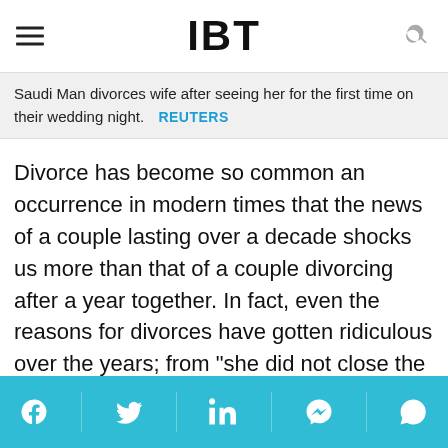IBT
Saudi Man divorces wife after seeing her for the first time on their wedding night.   REUTERS
Divorce has become so common an occurrence in modern times that the news of a couple lasting over a decade shocks us more than that of a couple divorcing after a year together. In fact, even the reasons for divorces have gotten ridiculous over the years; from "she did not close the car's door" to "the dish she prepared had too much salt", every excuse in the book has been used.
Share buttons: Facebook, Twitter, LinkedIn, Messenger, WhatsApp